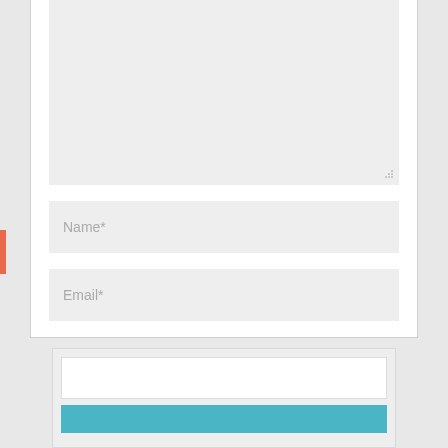[Figure (screenshot): A web comment form UI with a large textarea (partially visible at top), a Name* input field, an Email* input field, a coral/orange SUBMIT COMMENT button, and below that a nested card with a white box and teal bar at the bottom. There is a red/orange accent bar on the left side.]
Name*
Email*
SUBMIT COMMENT